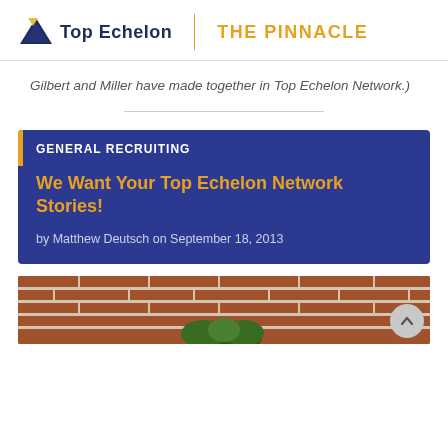Top Echelon | THE PINNACLE
Gilbert and Miller have made together in Top Echelon Network.)
GENERAL RECRUITING
We Want Your Top Echelon Network Stories!
by Matthew Deutsch on September 18, 2013
[Figure (photo): Partial photo of a brick wall with green plant/shrub at bottom center, partially visible at bottom of page]